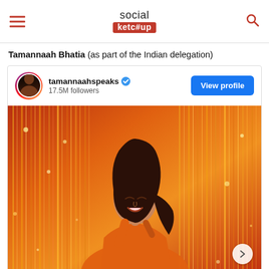social ketc#up
Tamannaah Bhatia (as part of the Indian delegation)
[Figure (screenshot): Instagram profile card for tamannaahspeaks with 17.5M followers and a View profile button, showing a photo of a woman smiling with eyes closed, wearing an orange outfit, against a golden/orange tinsel backdrop.]